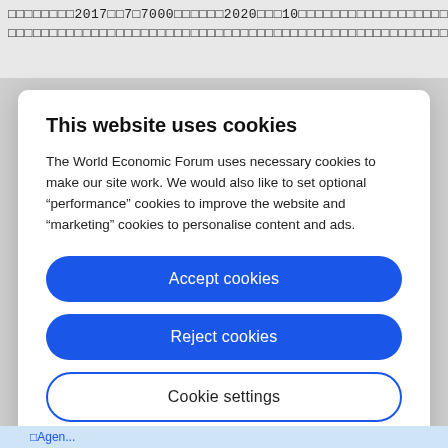□□□□□□□□2017□□7□7000□□□□□□2020□□□10□□□□□□□□□□□□□□□□□□□□□□□□□□□□□□□□□□□□□□□□□□□□□□□□□□□□□□□□□□□□□□□□□□□□□□□□□□□□□□□□□□□□□□□
This website uses cookies
The World Economic Forum uses necessary cookies to make our site work. We would also like to set optional “performance” cookies to improve the website and “marketing” cookies to personalise content and ads.
Accept cookies
Reject cookies
Cookie settings